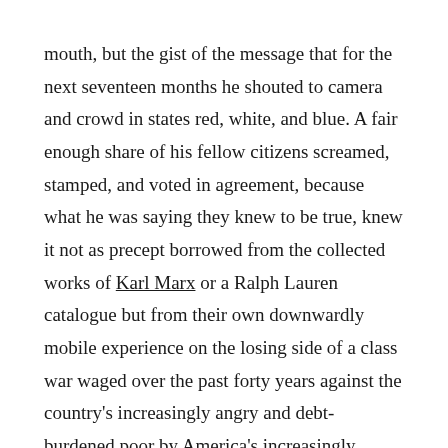mouth, but the gist of the message that for the next seventeen months he shouted to camera and crowd in states red, white, and blue. A fair enough share of his fellow citizens screamed, stamped, and voted in agreement, because what he was saying they knew to be true, knew it not as precept borrowed from the collected works of Karl Marx or a Ralph Lauren catalogue but from their own downwardly mobile experience on the losing side of a class war waged over the past forty years against the country's increasingly angry and debt-burdened poor by America's increasingly frightened and selfish rich.
Trump didn't need briefing papers to refine his